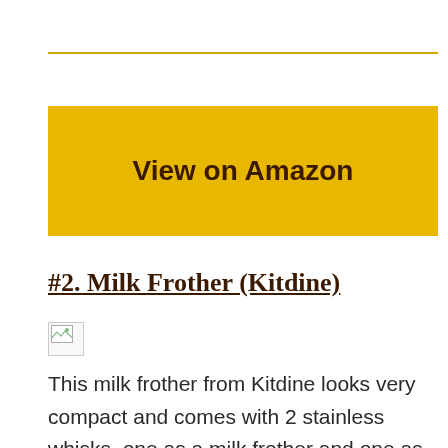[Figure (other): Horizontal gold/yellow decorative rule line]
View on Amazon
#2. Milk Frother (Kitdine)
[Figure (photo): Broken/missing image placeholder for Kitdine Milk Frother product photo]
This milk frother from Kitdine looks very compact and comes with 2 stainless whisks, one as a milk frother and one as an egg mixer. There’s a built-in rechargeable battery, so you